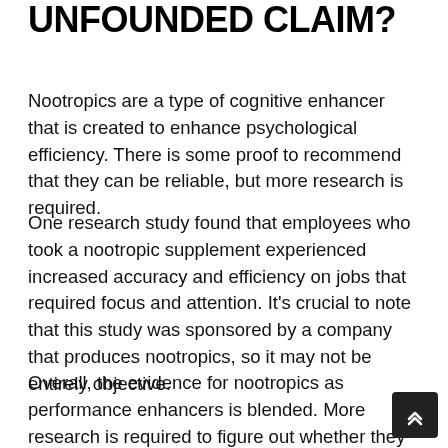UNFOUNDED CLAIM?
Nootropics are a type of cognitive enhancer that is created to enhance psychological efficiency. There is some proof to recommend that they can be reliable, but more research is required.
One research study found that employees who took a nootropic supplement experienced increased accuracy and efficiency on jobs that required focus and attention. It's crucial to note that this study was sponsored by a company that produces nootropics, so it may not be entirely objective.
Overall, the evidence for nootropics as performance enhancers is blended. More research is required to figure out whether they are genuinely effective.